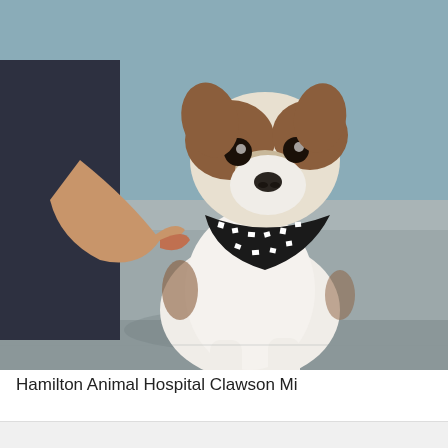[Figure (photo): A small Jack Russell Terrier puppy wearing a black and white patterned bandana, standing on a stainless steel examination table at a veterinary clinic. A person's hand is visible adjusting the bandana. Background shows light blue walls.]
Hamilton Animal Hospital Clawson Mi